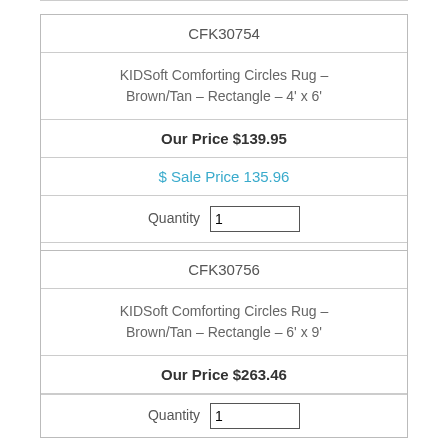| CFK30754 |
| KIDSoft Comforting Circles Rug – Brown/Tan – Rectangle – 4' x 6' |
| Our Price $139.95 |
| $ Sale Price 135.96 |
| Quantity 1 |
| Add to Cart |
| CFK30756 |
| KIDSoft Comforting Circles Rug – Brown/Tan – Rectangle – 6' x 9' |
| Our Price $263.46 |
| Quantity 1 |